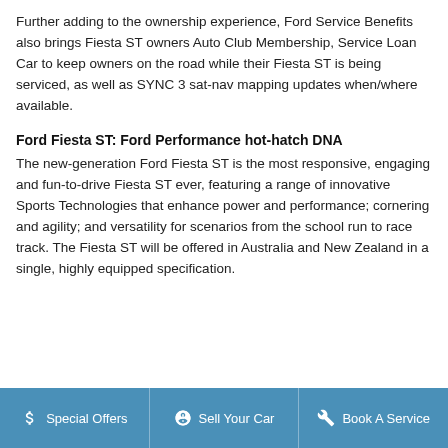Further adding to the ownership experience, Ford Service Benefits also brings Fiesta ST owners Auto Club Membership, Service Loan Car to keep owners on the road while their Fiesta ST is being serviced, as well as SYNC 3 sat-nav mapping updates when/where available.
Ford Fiesta ST: Ford Performance hot-hatch DNA
The new-generation Ford Fiesta ST is the most responsive, engaging and fun-to-drive Fiesta ST ever, featuring a range of innovative Sports Technologies that enhance power and performance; cornering and agility; and versatility for scenarios from the school run to race track. The Fiesta ST will be offered in Australia and New Zealand in a single, highly equipped specification.
Special Offers | Sell Your Car | Book A Service